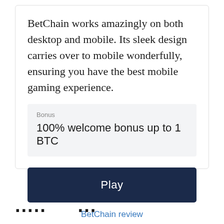BetChain works amazingly on both desktop and mobile. Its sleek design carries over to mobile wonderfully, ensuring you have the best mobile gaming experience.
Bonus
100% welcome bonus up to 1 BTC
Play
BetChain review